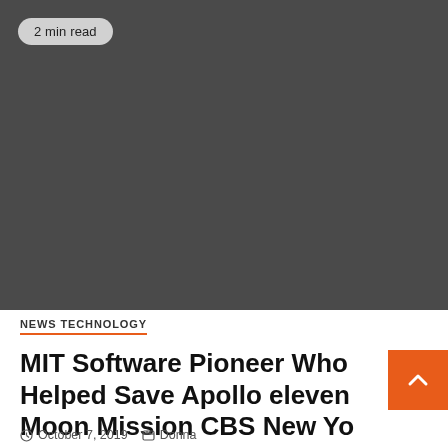[Figure (photo): Dark gray placeholder image taking up the top portion of the page with a '2 min read' badge in the top-left corner]
NEWS TECHNOLOGY
MIT Software Pioneer Who Helped Save Apollo eleven Moon Mission CBS New York
October 7, 2019   Donna